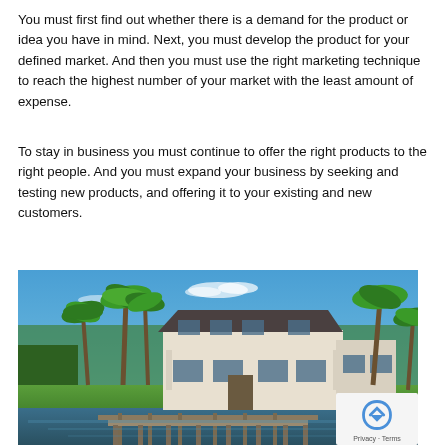You must first find out whether there is a demand for the product or idea you have in mind. Next, you must develop the product for your defined market. And then you must use the right marketing technique to reach the highest number of your market with the least amount of expense.
To stay in business you must continue to offer the right products to the right people. And you must expand your business by seeking and testing new products, and offering it to your existing and new customers.
[Figure (photo): Luxury waterfront mansion with palm trees, blue sky, and a dock in the foreground. Two-story white/tan home with large windows.]